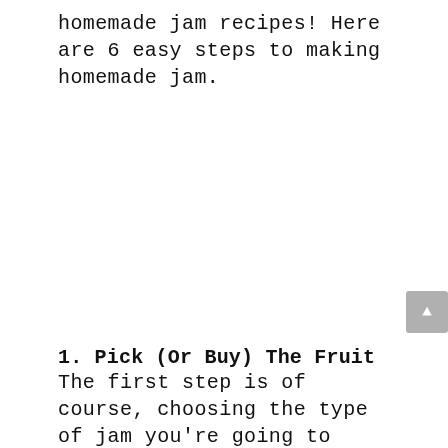homemade jam recipes! Here are 6 easy steps to making homemade jam.
1. Pick (Or Buy) The Fruit
The first step is of course, choosing the type of jam you're going to make. Once you've settled on that, it's time to round up your fruit! If you can pick your own fruit for your jam, that's the way